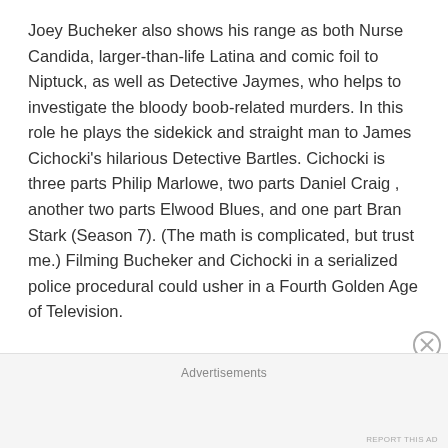Joey Bucheker also shows his range as both Nurse Candida, larger-than-life Latina and comic foil to Niptuck, as well as Detective Jaymes, who helps to investigate the bloody boob-related murders. In this role he plays the sidekick and straight man to James Cichocki's hilarious Detective Bartles. Cichocki is three parts Philip Marlowe, two parts Daniel Craig , another two parts Elwood Blues, and one part Bran Stark (Season 7). (The math is complicated, but trust me.) Filming Bucheker and Cichocki in a serialized police procedural could usher in a Fourth Golden Age of Television.
Advertisements